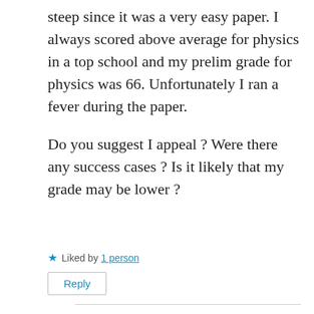steep since it was a very easy paper. I always scored above average for physics in a top school and my prelim grade for physics was 66. Unfortunately I ran a fever during the paper.
Do you suggest I appeal ? Were there any success cases ? Is it likely that my grade may be lower ?
★ Liked by 1 person
Reply
mathtuition88
February 27, 2019 at 6:51 pm